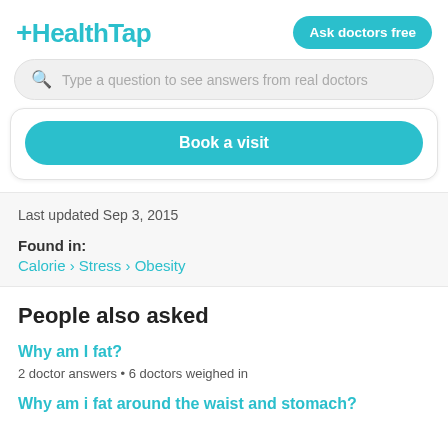[Figure (logo): HealthTap logo in teal color with plus sign]
Ask doctors free
Type a question to see answers from real doctors
Book a visit
Last updated Sep 3, 2015
Found in:
Calorie › Stress › Obesity
People also asked
Why am I fat?
2 doctor answers • 6 doctors weighed in
Why am i fat around the waist and stomach?